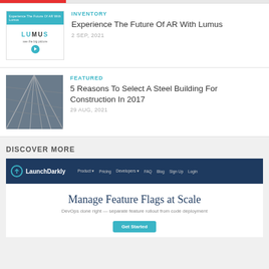[Figure (screenshot): Top bar with red accent strip]
[Figure (screenshot): Lumus AR product thumbnail with teal header and logo]
INVENTORY
Experience The Future Of AR With Lumus
2 SEP, 2021
[Figure (photo): Steel building structure viewed from below, architectural photo]
FEATURED
5 Reasons To Select A Steel Building For Construction In 2017
29 AUG, 2021
DISCOVER MORE
[Figure (screenshot): LaunchDarkly website screenshot showing dark navy navigation bar with logo and menu items, headline 'Manage Feature Flags at Scale', subheading 'DevOps done right — separate feature rollout from code deployment']